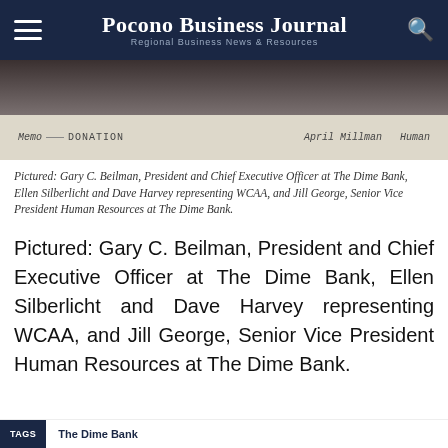Pocono Business Journal — Regional Business News & Resources
[Figure (photo): Photo of people at The Dime Bank holding a donation check, partially visible at bottom of frame]
Pictured: Gary C. Beilman, President and Chief Executive Officer at The Dime Bank, Ellen Silberlicht and Dave Harvey representing WCAA, and Jill George, Senior Vice President Human Resources at The Dime Bank.
Pictured: Gary C. Beilman, President and Chief Executive Officer at The Dime Bank, Ellen Silberlicht and Dave Harvey representing WCAA, and Jill George, Senior Vice President Human Resources at The Dime Bank.
TAGS  The Dime Bank